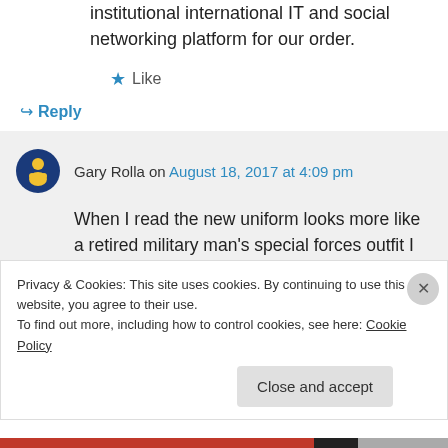institutional international IT and social networking platform for our order.
★ Like
↪ Reply
Gary Rolla on August 18, 2017 at 4:09 pm
When I read the new uniform looks more like a retired military man's special forces outfit I had to agree. The church has not
Privacy & Cookies: This site uses cookies. By continuing to use this website, you agree to their use.
To find out more, including how to control cookies, see here: Cookie Policy
Close and accept